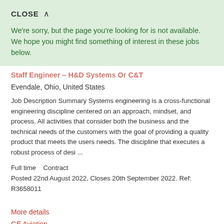CLOSE ∧
We're sorry, but the page you're looking for is not available. We hope you might find something of interest in these jobs below.
Staff Engineer – H&D Systems Or C&T
Evendale, Ohio, United States
Job Description Summary Systems engineering is a cross-functional engineering discipline centered on an approach, mindset, and process. All activities that consider both the business and the technical needs of the customers with the goal of providing a quality product that meets the users needs. The discipline that executes a robust process of desi ...
Full time    Contract
Posted 22nd August 2022, Closes 20th September 2022. Ref: R3658011
More details
GE Aviation